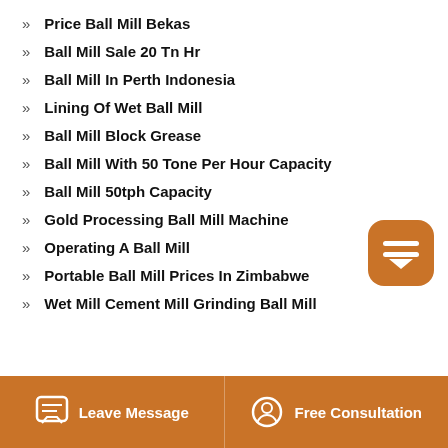Price Ball Mill Bekas
Ball Mill Sale 20 Tn Hr
Ball Mill In Perth Indonesia
Lining Of Wet Ball Mill
Ball Mill Block Grease
Ball Mill With 50 Tone Per Hour Capacity
Ball Mill 50tph Capacity
Gold Processing Ball Mill Machine
Operating A Ball Mill
Portable Ball Mill Prices In Zimbabwe
Wet Mill Cement Mill Grinding Ball Mill